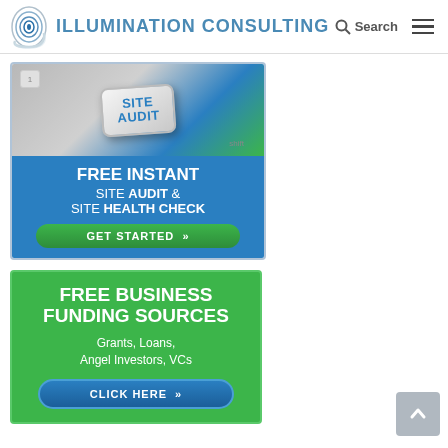Illumination Consulting — Search
[Figure (illustration): Site Audit banner with keyboard image and blue background. Text: FREE INSTANT SITE AUDIT & SITE HEALTH CHECK with GET STARTED button.]
[Figure (illustration): Free Business Funding Sources banner on green background. Text: FREE BUSINESS FUNDING SOURCES, Grants, Loans, Angel Investors, VCs with CLICK HERE button.]